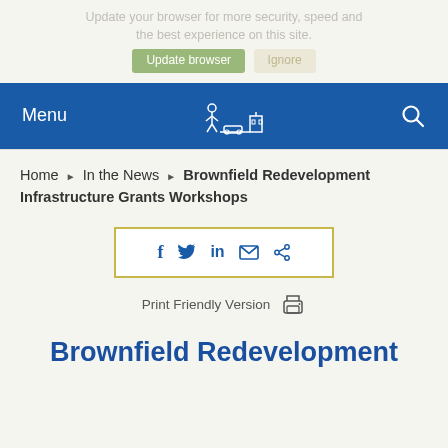Update your browser for more security, speed and the best experience on this site. Update browser  Ignore
[Figure (screenshot): Blue navigation bar with Menu label on left, stylized city skyline logo in center, and search icon on right]
Home ▶ In the News ▶ Brownfield Redevelopment Infrastructure Grants Workshops
[Figure (infographic): Social sharing widget with Facebook, Twitter, LinkedIn, email, and share icons in a gold-bordered box]
Print Friendly Version
Brownfield Redevelopment